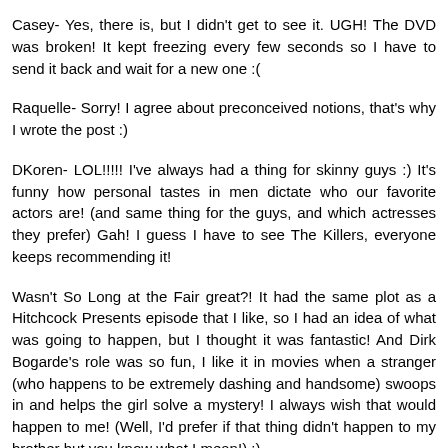Casey- Yes, there is, but I didn't get to see it. UGH! The DVD was broken! It kept freezing every few seconds so I have to send it back and wait for a new one :(
Raquelle- Sorry! I agree about preconceived notions, that's why I wrote the post :)
DKoren- LOL!!!!! I've always had a thing for skinny guys :) It's funny how personal tastes in men dictate who our favorite actors are! (and same thing for the guys, and which actresses they prefer) Gah! I guess I have to see The Killers, everyone keeps recommending it!
Wasn't So Long at the Fair great?! It had the same plot as a Hitchcock Presents episode that I like, so I had an idea of what was going to happen, but I thought it was fantastic! And Dirk Bogarde's role was so fun, I like it in movies when a stranger (who happens to be extremely dashing and handsome) swoops in and helps the girl solve a mystery! I always wish that would happen to me! (Well, I'd prefer if that thing didn't happen to my brother but you know what I mean!) :)